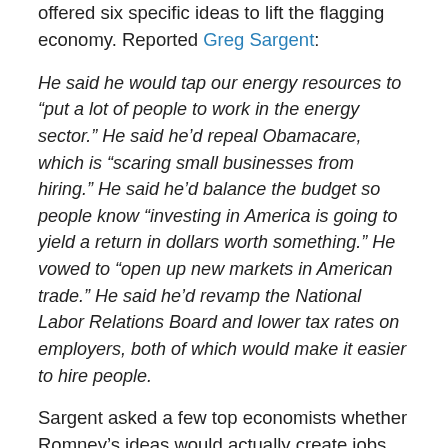offered six specific ideas to lift the flagging economy. Reported Greg Sargent:
He said he would tap our energy resources to “put a lot of people to work in the energy sector.” He said he’d repeal Obamacare, which is “scaring small businesses from hiring.” He said he’d balance the budget so people know “investing in America is going to yield a return in dollars worth something.” He vowed to “open up new markets in American trade.” He said he’d revamp the National Labor Relations Board and lower tax rates on employers, both of which would make it easier to hire people.
Sargent asked a few top economists whether Romney’s ideas would actually create jobs. “On net, all of these policies would do more harm in the short term,” responded Mark Hopkins, a senior adviser at Moody’s Analytics. “If